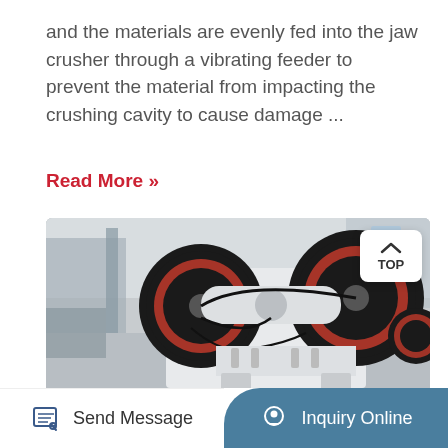and the materials are evenly fed into the jaw crusher through a vibrating feeder to prevent the material from impacting the crushing cavity to cause damage ...
Read More »
[Figure (photo): Industrial jaw crusher machine with large black and red flywheels, white metal frame, photographed in a factory/warehouse setting.]